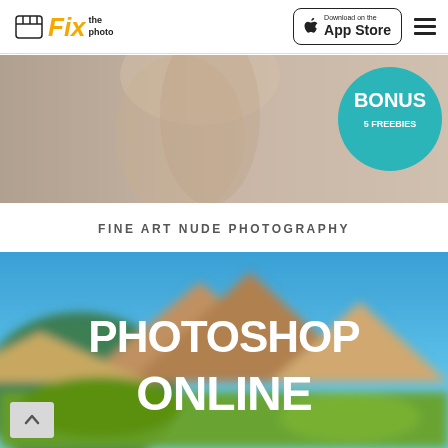Fix the photo — Download on the App Store
[Figure (photo): Promotional banner for fine art nude photography with a blurred background image of a woman and a teal circle badge reading BONUS 5 FREEBIES]
FINE ART NUDE PHOTOGRAPHY
[Figure (photo): Promotional banner with blurred mountain landscape background and bold white text reading PHOTOSHOP ONLINE]